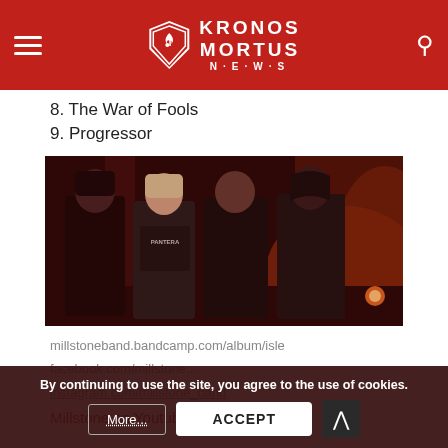Kronos Mortus News
8. The War of Fools
9. Progressor
[Figure (photo): Four band members standing in a dimly lit red-toned room/stage setting. They are dressed in dark clothing; one wears a Pantera t-shirt, another wears a hoodie. The lighting is dramatic with red and orange tones.]
millstoneband.bandcamp.com/album/isle
facebook.com/millstone...
instagram.com/millstone_band
Millstone on Youtube
By continuing to use the site, you agree to the use of cookies.